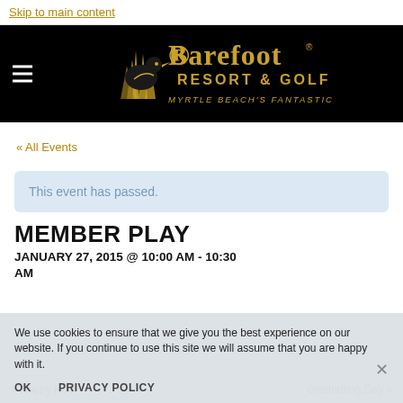Skip to main content
[Figure (logo): Barefoot Resort & Golf logo — gold bird and text on black background, 'Myrtle Beach's Fantastic Four' tagline]
« All Events
This event has passed.
MEMBER PLAY
JANUARY 27, 2015 @ 10:00 AM - 10:30 AM
We use cookies to ensure that we give you the best experience on our website. If you continue to use this site we will assume that you are happy with it.
OK
PRIVACY POLICY
« Happy Hour
Groundhog Day »